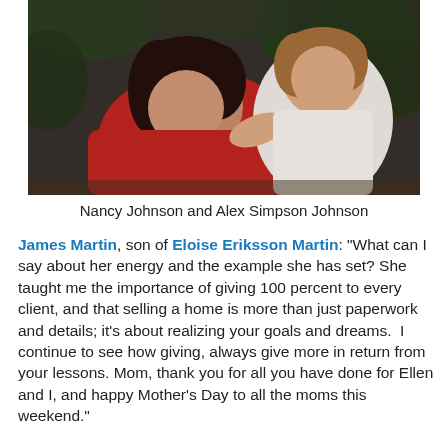[Figure (photo): A woman in a red top and a child in white embracing, photographed outdoors with dark foliage in the background.]
Nancy Johnson and Alex Simpson Johnson
James Martin, son of Eloise Eriksson Martin: “What can I say about her energy and the example she has set? She taught me the importance of giving 100 percent to every client, and that selling a home is more than just paperwork and details; it’s about realizing your goals and dreams.  I continue to see how giving, always give more in return from your lessons. Mom, thank you for all you have done for Ellen and I, and happy Mother’s Day to all the moms this weekend.”